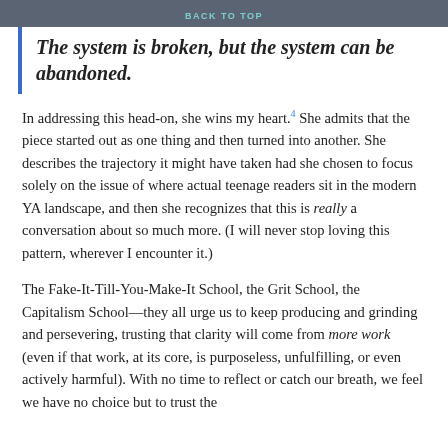BACK TO TOP
The system is broken, but the system can be abandoned.
In addressing this head-on, she wins my heart.4 She admits that the piece started out as one thing and then turned into another. She describes the trajectory it might have taken had she chosen to focus solely on the issue of where actual teenage readers sit in the modern YA landscape, and then she recognizes that this is really a conversation about so much more. (I will never stop loving this pattern, wherever I encounter it.)
The Fake-It-Till-You-Make-It School, the Grit School, the Capitalism School—they all urge us to keep producing and grinding and persevering, trusting that clarity will come from more work (even if that work, at its core, is purposeless, unfulfilling, or even actively harmful). With no time to reflect or catch our breath, we feel we have no choice but to trust the